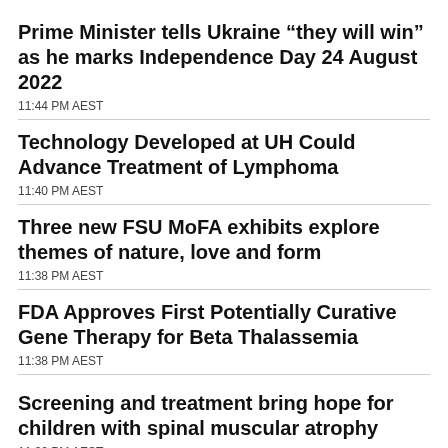Prime Minister tells Ukraine “they will win” as he marks Independence Day 24 August 2022
11:44 PM AEST
Technology Developed at UH Could Advance Treatment of Lymphoma
11:40 PM AEST
Three new FSU MoFA exhibits explore themes of nature, love and form
11:38 PM AEST
FDA Approves First Potentially Curative Gene Therapy for Beta Thalassemia
11:38 PM AEST
Screening and treatment bring hope for children with spinal muscular atrophy
11:32 PM AEST